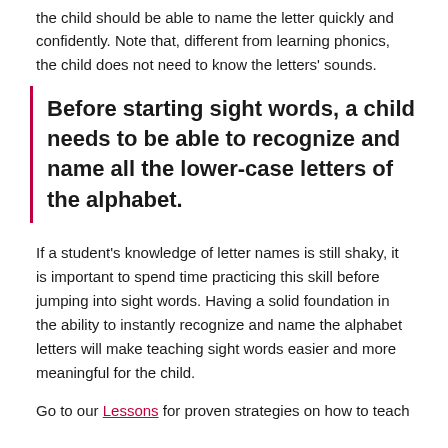the child should be able to name the letter quickly and confidently. Note that, different from learning phonics, the child does not need to know the letters' sounds.
Before starting sight words, a child needs to be able to recognize and name all the lower-case letters of the alphabet.
If a student's knowledge of letter names is still shaky, it is important to spend time practicing this skill before jumping into sight words. Having a solid foundation in the ability to instantly recognize and name the alphabet letters will make teaching sight words easier and more meaningful for the child.
Go to our Lessons for proven strategies on how to teach